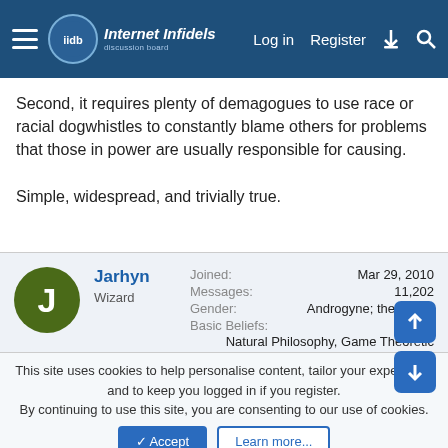Internet Infidels — Log in | Register
Second, it requires plenty of demagogues to use race or racial dogwhistles to constantly blame others for problems that those in power are usually responsible for causing.

Simple, widespread, and trivially true.
Jarhyn
Wizard
Joined: Mar 29, 2010
Messages: 11,202
Gender: Androgyne; they/them
Basic Beliefs: Natural Philosophy, Game Theoretic Ethicist
Jan 13, 2021  #287
This site uses cookies to help personalise content, tailor your experience and to keep you logged in if you register.
By continuing to use this site, you are consenting to our use of cookies.